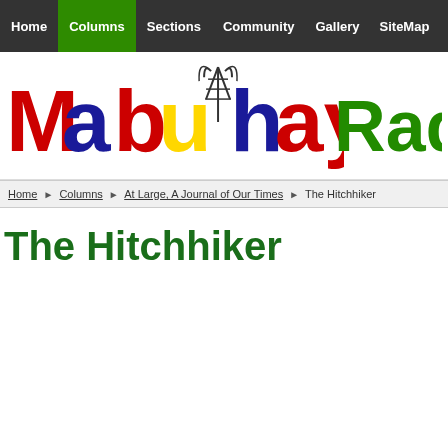Home | Columns | Sections | Community | Gallery | SiteMap | Contact Us | S
[Figure (logo): Mabuhay Radio! logo with colorful text and radio tower graphic]
Home ▶ Columns ▶ At Large, A Journal of Our Times ▶ The Hitchhiker
The Hitchhiker